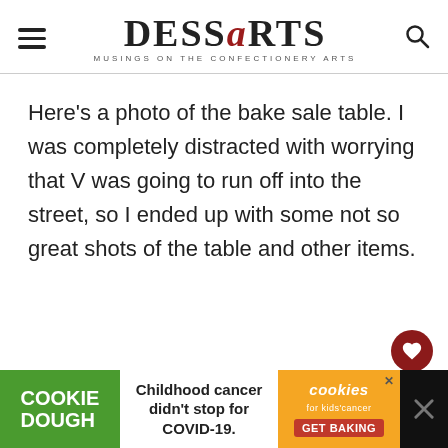DESSARTS — MUSINGS ON THE CONFECTIONERY ARTS
Here's a photo of the bake sale table. I was completely distracted with worrying that V was going to run off into the street, so I ended up with some not so great shots of the table and other items.
[Figure (infographic): Cookie Dough advertisement banner: 'Childhood cancer didn't stop for COVID-19. GET BAKING' with cookies for kids' cancer branding.]